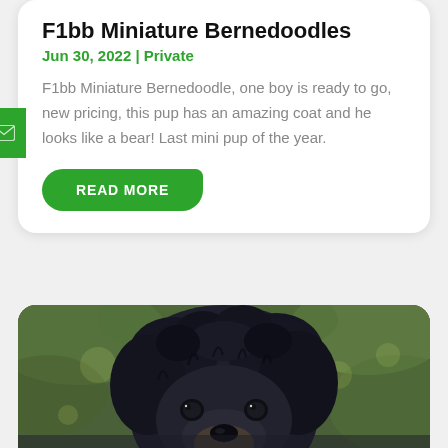F1bb Miniature Bernedoodles
Jun 30, 2022 | Private
F1bb Miniature Bernedoodle, one boy is ready to go, new pricing, this pup has an amazing coat and he looks like a bear! Last mini pup of the year.
READ MORE
[Figure (photo): Close-up photo of a dark fluffy Bernedoodle puppy with curly black fur and tan markings, looking at the camera against a blurred green background.]